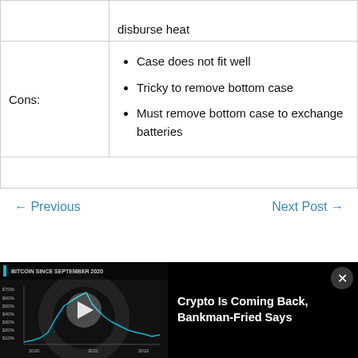|  |  |
| --- | --- |
|  | disburse heat |
| Cons: | • Case does not fit well
• Tricky to remove bottom case
• Must remove bottom case to exchange batteries |
← Previous    Next Post →
[Figure (screenshot): Video banner showing a Bitcoin price chart titled 'BITCOIN SINCE SEPTEMBER 2020' with a line chart from 2020 to 2022, a play button overlay, and text 'Crypto Is Coming Back, Bankman-Fried Says'. Close button in top-right corner.]